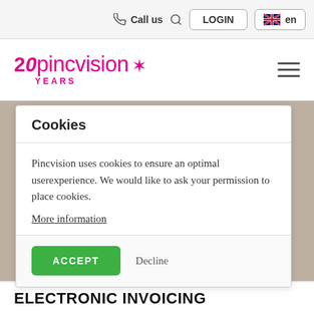Call us  LOGIN  en
[Figure (logo): Pincvision logo with '20 YEARS' text in pink/magenta color with decorative spark icon]
Cookies
Pincvision uses cookies to ensure an optimal userexperience. We would like to ask your permission to place cookies.
More information
ACCEPT   Decline
ELECTRONIC INVOICING